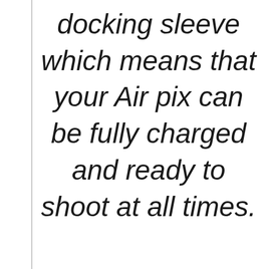docking sleeve which means that your Air pix can be fully charged and ready to shoot at all times.